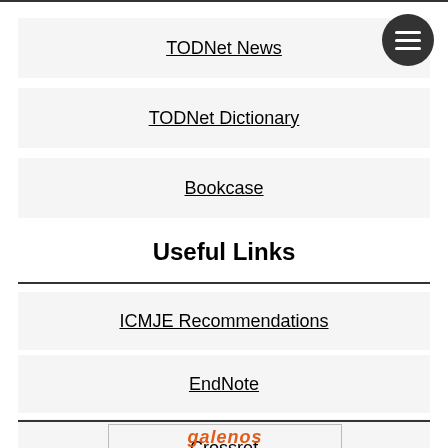TODNet News
TODNet Dictionary
Bookcase
Useful Links
ICMJE Recommendations
EndNote
Crossref
[Figure (logo): Galenos publisher logo in orange italic text]